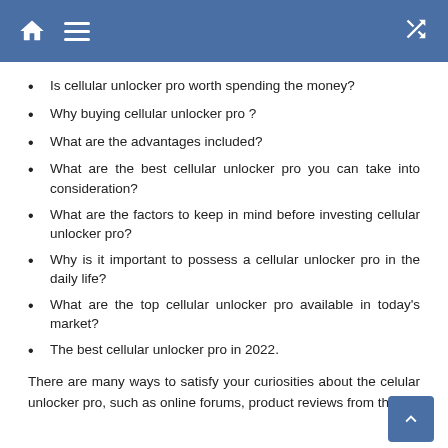Is cellular unlocker pro worth spending the money?
Why buying cellular unlocker pro ?
What are the advantages included?
What are the best cellular unlocker pro you can take into consideration?
What are the factors to keep in mind before investing cellular unlocker pro?
Why is it important to possess a cellular unlocker pro in the daily life?
What are the top cellular unlocker pro available in today's market?
The best cellular unlocker pro in 2022.
There are many ways to satisfy your curiosities about the cellular unlocker pro, such as online forums, product reviews from the